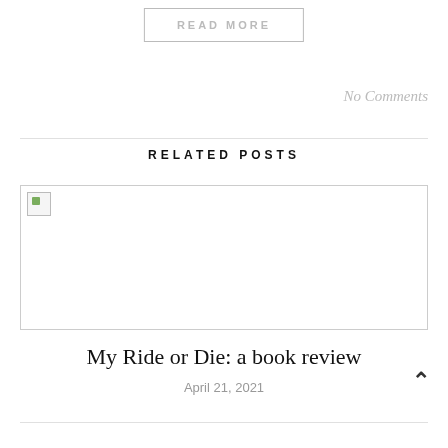READ MORE
No Comments
RELATED POSTS
[Figure (photo): Broken image placeholder for a related post thumbnail]
My Ride or Die: a book review
April 21, 2021